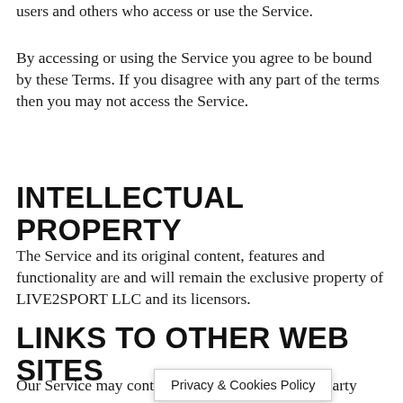users and others who access or use the Service.
By accessing or using the Service you agree to be bound by these Terms. If you disagree with any part of the terms then you may not access the Service.
INTELLECTUAL PROPERTY
The Service and its original content, features and functionality are and will remain the exclusive property of LIVE2SPORT LLC and its licensors.
LINKS TO OTHER WEB SITES
Our Service may cont [Privacy & Cookies Policy] arty web